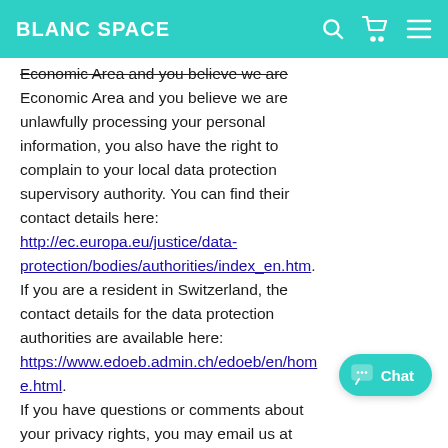BLANC SPACE
Economic Area and you believe we are unlawfully processing your personal information, you also have the right to complain to your local data protection supervisory authority. You can find their contact details here: http://ec.europa.eu/justice/data-protection/bodies/authorities/index_en.htm. If you are a resident in Switzerland, the contact details for the data protection authorities are available here: https://www.edoeb.admin.ch/edoeb/en/home.html. If you have questions or comments about your privacy rights, you may email us at hello@blancspace.com.
Account Information